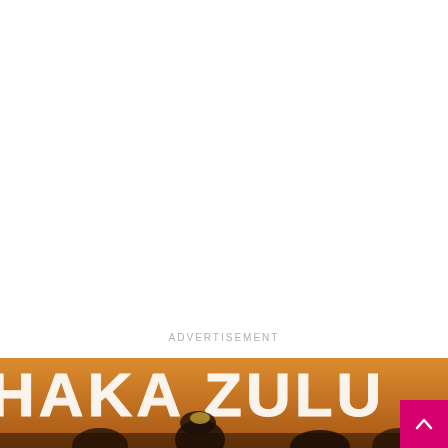ADVERTISEMENT
[Figure (photo): Partial photo showing the text 'SHAKA ZULU' in large white block letters against an orange/golden background, with people visible beneath the text wearing festive attire and a scroll-to-top button in magenta at the bottom right.]